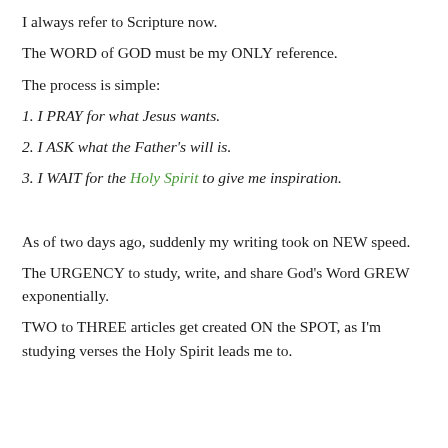I always refer to Scripture now.
The WORD of GOD must be my ONLY reference.
The process is simple:
1. I PRAY for what Jesus wants.
2. I ASK what the Father's will is.
3. I WAIT for the Holy Spirit to give me inspiration.
As of two days ago, suddenly my writing took on NEW speed.
The URGENCY to study, write, and share God's Word GREW exponentially.
TWO to THREE articles get created ON the SPOT, as I'm studying verses the Holy Spirit leads me to.